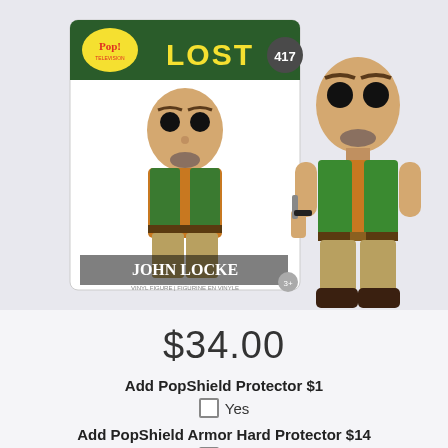[Figure (photo): Funko Pop! LOST #417 John Locke vinyl figure shown both in box and out of box. The figure depicts a bald man with a goatee wearing a green vest over an orange shirt with khaki pants and dark boots, holding a knife.]
$34.00
Add PopShield Protector $1
Yes
Add PopShield Armor Hard Protector $14
Yes